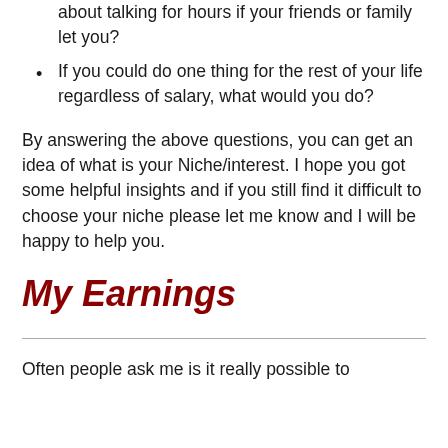about talking for hours if your friends or family let you?
If you could do one thing for the rest of your life regardless of salary, what would you do?
By answering the above questions, you can get an idea of what is your Niche/interest. I hope you got some helpful insights and if you still find it difficult to choose your niche please let me know and I will be happy to help you.
My Earnings
Often people ask me is it really possible to